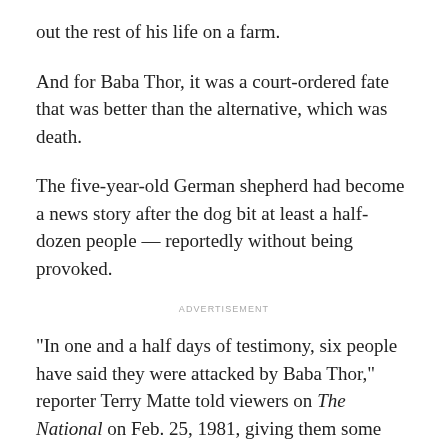out the rest of his life on a farm.
And for Baba Thor, it was a court-ordered fate that was better than the alternative, which was death.
The five-year-old German shepherd had become a news story after the dog bit at least a half-dozen people — reportedly without being provoked.
ADVERTISEMENT
"In one and a half days of testimony, six people have said they were attacked by Baba Thor," reporter Terry Matte told viewers on The National on Feb. 25, 1981, giving them some background on why the dog had become the subject of a court hearing.